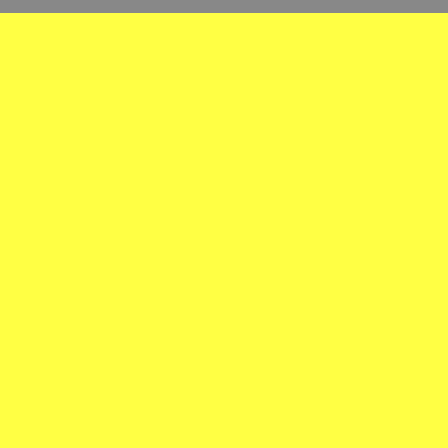Bob Dylan | Bob Dylan: Discography | Official Site
BOB DYLAN IN SPANISH CHARTS
Albums
Title
The Bootleg Series Vol. 7: No Direction Home (So...)
Modern Times
Dylan [2007]
The Essential
The Bootleg Series Vol. 8: Tell Tale Signs - Rare A...
Together Through Life
Christmas In The Heart
The Bootleg Series Vol. 9: The Witmark Demos -
Tempest
Another Self Portrait (1969-1971) - The Bootleg S...
The Bootleg Series Vol. 11: The Basement Tapes...
The Bootleg Series Vol. 11: The Basement Tapes... Band)
Shadows In The Night
The Bootleg Series Vol. 12 - 1965-1966: The Bes...
Fallen Angels
The Real Royal Albert Hall 1966 Concert!
Triplicate
The Bootleg Series Vol. 13 / 1979-1981 - Trouble...